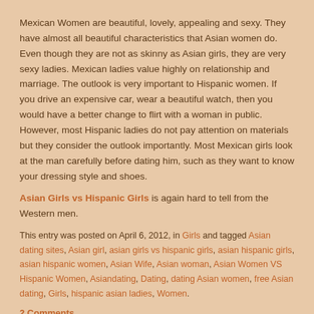Mexican Women are beautiful, lovely, appealing and sexy. They have almost all beautiful characteristics that Asian women do. Even though they are not as skinny as Asian girls, they are very sexy ladies. Mexican ladies value highly on relationship and marriage. The outlook is very important to Hispanic women. If you drive an expensive car, wear a beautiful watch, then you would have a better change to flirt with a woman in public. However, most Hispanic ladies do not pay attention on materials but they consider the outlook importantly. Most Mexican girls look at the man carefully before dating him, such as they want to know your dressing style and shoes.
Asian Girls vs Hispanic Girls is again hard to tell from the Western men.
This entry was posted on April 6, 2012, in Girls and tagged Asian dating sites, Asian girl, asian girls vs hispanic girls, asian hispanic girls, asian hispanic women, Asian Wife, Asian woman, Asian Women VS Hispanic Women, Asiandating, Dating, dating Asian women, free Asian dating, Girls, hispanic asian ladies, Women.
2 Comments